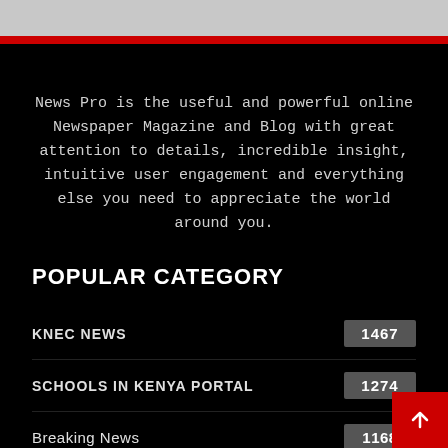News Pro is the useful and powerful online Newspaper Magazine and Blog with great attention to details, incredible insight, intuitive user engagement and everything else you need to appreciate the world around you.
POPULAR CATEGORY
KNEC NEWS — 1467
SCHOOLS IN KENYA PORTAL — 1274
Breaking News — 1168
Education